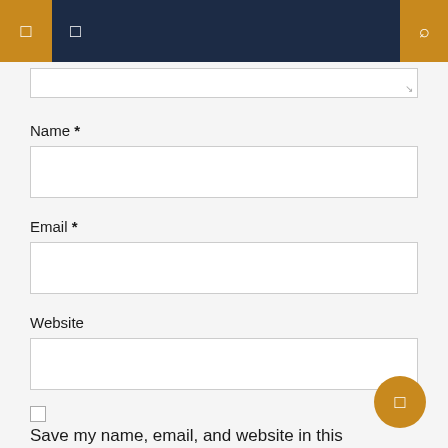Navigation header with menu icons and search
Name *
Email *
Website
Save my name, email, and website in this browser for the